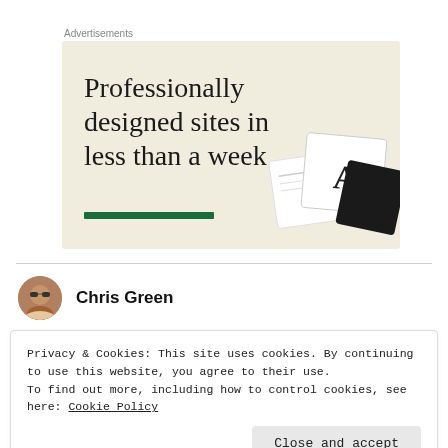Advertisements
[Figure (other): Advertisement banner with beige background showing text 'Professionally designed sites in less than a week' with a green underline bar and design mockup cards in the corner.]
Chris Green
Privacy & Cookies: This site uses cookies. By continuing to use this website, you agree to their use.
To find out more, including how to control cookies, see here: Cookie Policy
Close and accept